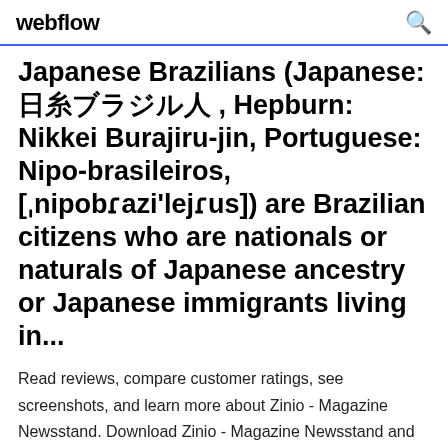webflow
Japanese Brazilians (Japanese: 日糸ブラジル人, Hepburn: Nikkei Burajiru-jin, Portuguese: Nipo-brasileiros, [ˌnipobuɾazi'lejɾus]) are Brazilian citizens who are nationals or naturals of Japanese ancestry or Japanese immigrants living in...
Read reviews, compare customer ratings, see screenshots, and learn more about Zinio - Magazine Newsstand. Download Zinio - Magazine Newsstand and enjoy it on your iPhone, iPad, and iPod touch. FREE Download!!! (Get Edition 1 free, over pages long) Every guy